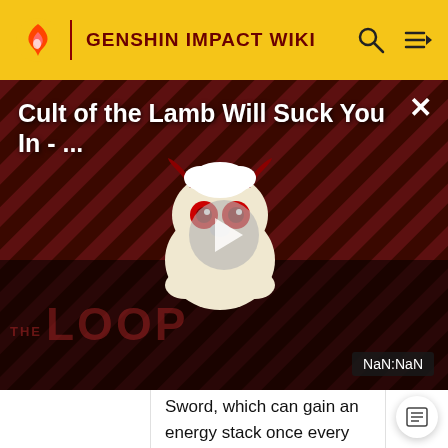GENSHIN IMPACT WIKI
[Figure (screenshot): Video overlay showing 'Cult of the Lamb Will Suck You In - ...' with a play button, THE LOOP branding, and a NaN:NaN timestamp badge on a dark red striped background]
Sword, which can gain an energy stack once every 0.1s. Once its duration ends